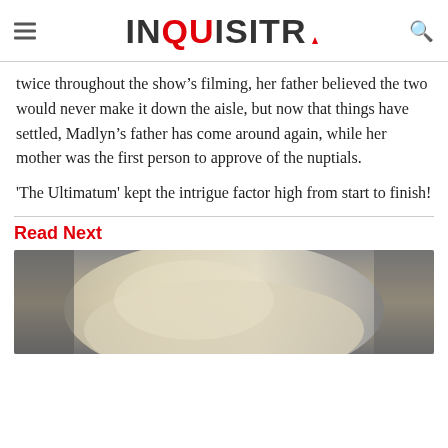INQUISITR
twice throughout the show’s filming, her father believed the two would never make it down the aisle, but now that things have settled, Madlyn’s father has come around again, while her mother was the first person to approve of the nuptials.
'The Ultimatum' kept the intrigue factor high from start to finish!
Read Next
[Figure (photo): Cropped photo showing top of a person's head with blonde hair, blurred background]